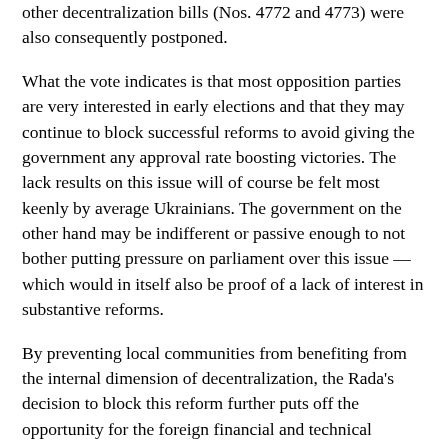other decentralization bills (Nos. 4772 and 4773) were also consequently postponed.
What the vote indicates is that most opposition parties are very interested in early elections and that they may continue to block successful reforms to avoid giving the government any approval rate boosting victories. The lack results on this issue will of course be felt most keenly by average Ukrainians. The government on the other hand may be indifferent or passive enough to not bother putting pressure on parliament over this issue — which would in itself also be proof of a lack of interest in substantive reforms.
By preventing local communities from benefiting from the internal dimension of decentralization, the Rada's decision to block this reform further puts off the opportunity for the foreign financial and technical assistance in helping the country decentralize. Without pressure from civil society, international partners and governmental reformers there seems